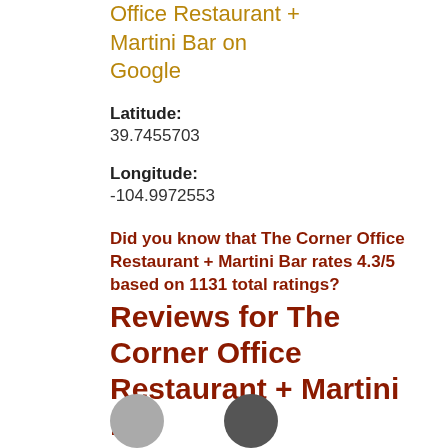Office Restaurant + Martini Bar on Google
Latitude: 39.7455703
Longitude: -104.9972553
Did you know that The Corner Office Restaurant + Martini Bar rates 4.3/5 based on 1131 total ratings?
Reviews for The Corner Office Restaurant + Martini Bar